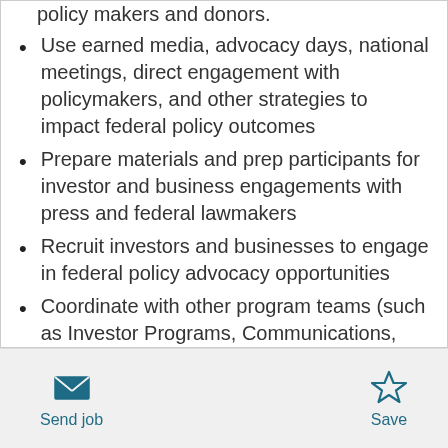policy makers and donors.
Use earned media, advocacy days, national meetings, direct engagement with policymakers, and other strategies to impact federal policy outcomes
Prepare materials and prep participants for investor and business engagements with press and federal lawmakers
Recruit investors and businesses to engage in federal policy advocacy opportunities
Coordinate with other program teams (such as Investor Programs, Communications,
Send job   Save